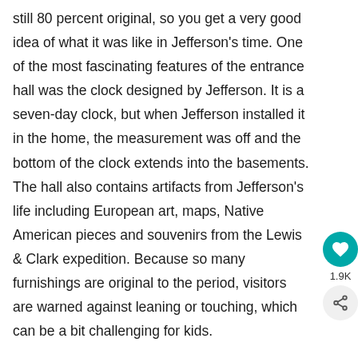still 80 percent original, so you get a very good idea of what it was like in Jefferson's time. One of the most fascinating features of the entrance hall was the clock designed by Jefferson. It is a seven-day clock, but when Jefferson installed it in the home, the measurement was off and the bottom of the clock extends into the basements. The hall also contains artifacts from Jefferson's life including European art, maps, Native American pieces and souvenirs from the Lewis & Clark expedition. Because so many furnishings are original to the period, visitors are warned against leaning or touching, which can be a bit challenging for kids.